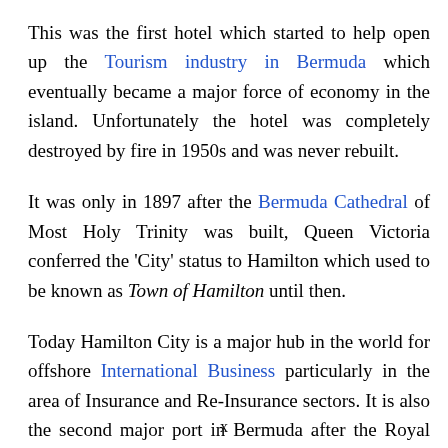This was the first hotel which started to help open up the Tourism industry in Bermuda which eventually became a major force of economy in the island. Unfortunately the hotel was completely destroyed by fire in 1950s and was never rebuilt.
It was only in 1897 after the Bermuda Cathedral of Most Holy Trinity was built, Queen Victoria conferred the 'City' status to Hamilton which used to be known as Town of Hamilton until then.
Today Hamilton City is a major hub in the world for offshore International Business particularly in the area of Insurance and Re-Insurance sectors. It is also the second major port in Bermuda after the Royal Naval Dockyard in Sandys. Other than being the commercial
x